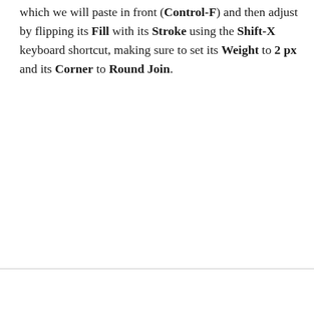which we will paste in front (Control-F) and then adjust by flipping its Fill with its Stroke using the Shift-X keyboard shortcut, making sure to set its Weight to 2 px and its Corner to Round Join.